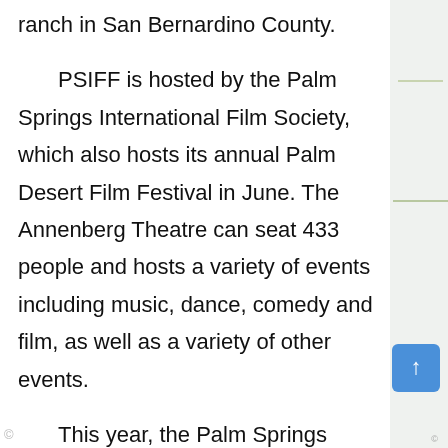ranch in San Bernardino County.

    PSIFF is hosted by the Palm Springs International Film Society, which also hosts its annual Palm Desert Film Festival in June. The Annenberg Theatre can seat 433 people and hosts a variety of events including music, dance, comedy and film, as well as a variety of other events.

    This year, the Palm Springs International Film Festival and the Palm Desert Music Festival are coming to the Annenberg Theater. The Palm Beach County Performing